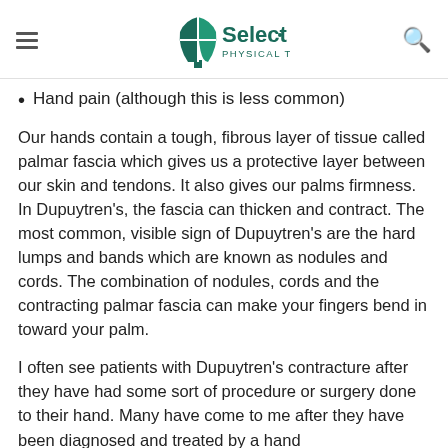Select Physical Therapy
Hand pain (although this is less common)
Our hands contain a tough, fibrous layer of tissue called palmar fascia which gives us a protective layer between our skin and tendons. It also gives our palms firmness. In Dupuytren's, the fascia can thicken and contract. The most common, visible sign of Dupuytren's are the hard lumps and bands which are known as nodules and cords. The combination of nodules, cords and the contracting palmar fascia can make your fingers bend in toward your palm.
I often see patients with Dupuytren's contracture after they have had some sort of procedure or surgery done to their hand. Many have come to me after they have been diagnosed and treated by a hand surgeon. They are not completely done yet.